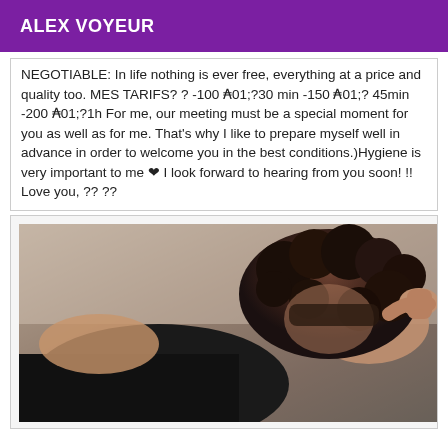ALEX VOYEUR
NEGOTIABLE: In life nothing is ever free, everything at a price and quality too. MES TARIFS? ? -100 ₻01;?30 min -150 ₻01;? 45min -200 ₻01;?1h For me, our meeting must be a special moment for you as well as for me. That's why I like to prepare myself well in advance in order to welcome you in the best conditions.)Hygiene is very important to me ❤ I look forward to hearing from you soon! !! Love you, ?? ??
[Figure (photo): A photo showing a person with dark curly hair lying down, wearing black clothing, face partially visible]